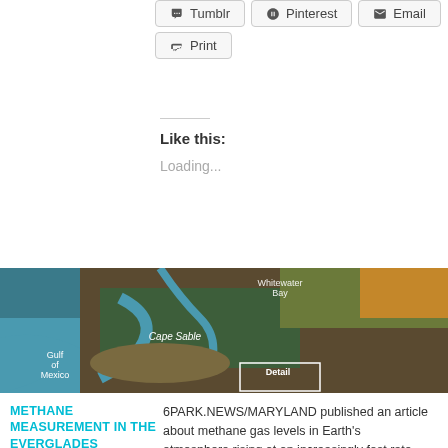[Figure (screenshot): Share buttons: Tumblr, Pinterest, Email, Print]
Like this:
Loading...
[Figure (map): Satellite map image showing Cape Sable, Whitewater Bay, Gulf of Mexico, and a Detail inset box in the Everglades region]
METHANE MEASUREMENT IN THE EVERGLADES
6PARK.NEWS/MARYLAND published an article about methane gas levels in Earth's atmosphere rising at an increasingly fast rate and studies from NASA...